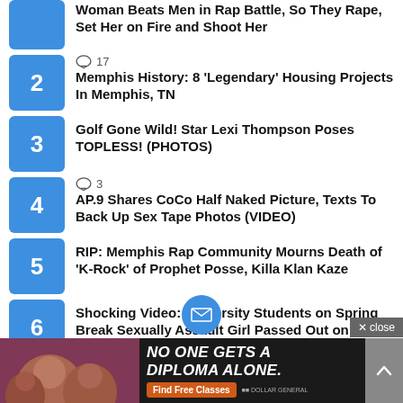Woman Beats Men in Rap Battle, So They Rape, Set Her on Fire and Shoot Her
17 comments
Memphis History: 8 ‘Legendary’ Housing Projects In Memphis, TN
Golf Gone Wild! Star Lexi Thompson Poses TOPLESS! (PHOTOS)
3 comments
AP.9 Shares CoCo Half Naked Picture, Texts To Back Up Sex Tape Photos (VIDEO)
RIP: Memphis Rap Community Mourns Death of ‘K-Rock’ of Prophet Posse, Killa Klan Kaze
Shocking Video: University Students on Spring Break Sexually Assault Girl Passed Out on Florida Beach
[Figure (screenshot): Advertisement banner: NO ONE GETS A DIPLOMA ALONE. Find Free Classes. Dollar General.]